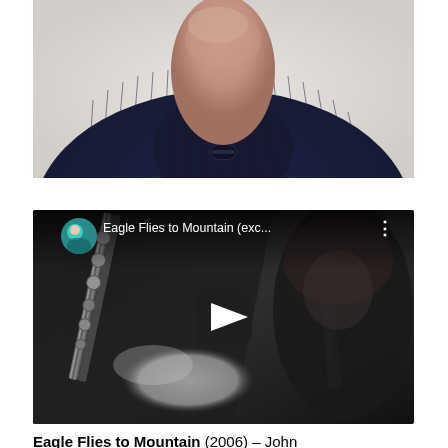[Figure (photo): Close-up photo of a person wearing a dark navy ribbed sweater/turtleneck with toggle button. Only the chin/neck and upper chest area is visible. Background is light/white.]
[Figure (screenshot): YouTube video thumbnail showing a musician playing a clarinet in black and white. The video title reads 'Eagle Flies to Mountain (exc...' with a channel avatar of a woman in blue-green top. A play button is visible in the center of the video.]
Eagle Flies to Mountain (2006) – John